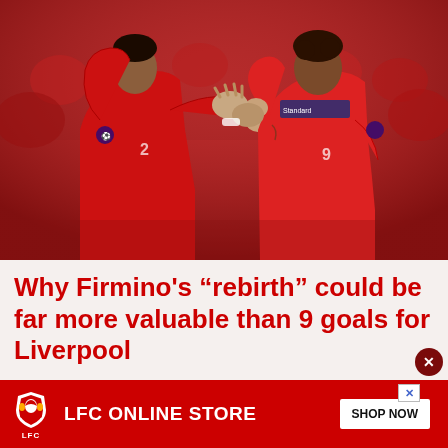[Figure (photo): Two Liverpool FC players in red jerseys celebrating, high-fiving each other. Player on left wearing number 2, player on right wearing number 9 (Roberto Firmino). Crowd in Liverpool red in background. Yellow-vested person visible behind them.]
Why Firmino's “rebirth” could be far more valuable than 9 goals for Liverpool
[Figure (infographic): LFC Online Store advertisement banner. Red background with Liverpool FC crest/logo on left, text 'LFC ONLINE STORE' in white bold letters, and 'SHOP NOW' button in white on right.]